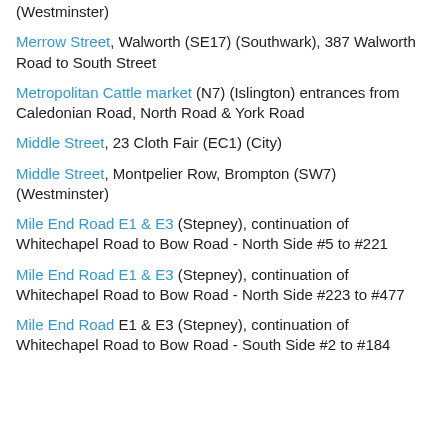(Westminster)
Merrow Street, Walworth (SE17) (Southwark), 387 Walworth Road to South Street
Metropolitan Cattle market (N7) (Islington) entrances from Caledonian Road, North Road & York Road
Middle Street, 23 Cloth Fair (EC1) (City)
Middle Street, Montpelier Row, Brompton (SW7) (Westminster)
Mile End Road E1 & E3 (Stepney), continuation of Whitechapel Road to Bow Road - North Side #5 to #221
Mile End Road E1 & E3 (Stepney), continuation of Whitechapel Road to Bow Road - North Side #223 to #477
Mile End Road E1 & E3 (Stepney), continuation of Whitechapel Road to Bow Road - South Side #2 to #184